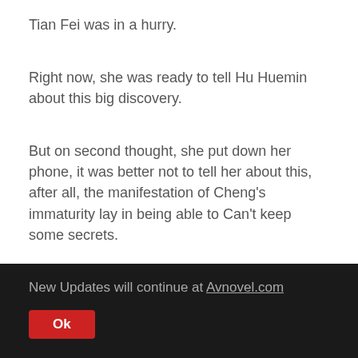Tian Fei was in a hurry.
Right now, she was ready to tell Hu Huemin about this big discovery.
But on second thought, she put down her phone, it was better not to tell her about this, after all, the manifestation of Cheng's immaturity lay in being able to Can't keep some secrets.
Why do you have to bare your heart to Hughie everywhere!
Let's say Chen Ge again.
New Updates will continue at Avnovel.com